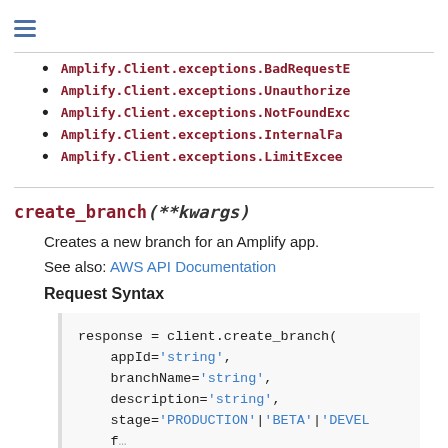≡
Amplify.Client.exceptions.BadRequestE...
Amplify.Client.exceptions.Unauthorize...
Amplify.Client.exceptions.NotFoundExc...
Amplify.Client.exceptions.InternalFa...
Amplify.Client.exceptions.LimitExcee...
create_branch(**kwargs)
Creates a new branch for an Amplify app.
See also: AWS API Documentation
Request Syntax
response = client.create_branch(
    appId='string',
    branchName='string',
    description='string',
    stage='PRODUCTION'|'BETA'|'DEVEL...